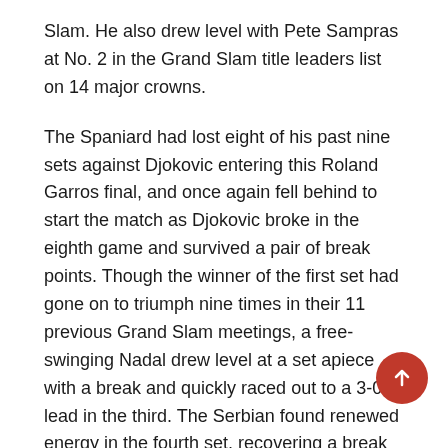Slam. He also drew level with Pete Sampras at No. 2 in the Grand Slam title leaders list on 14 major crowns.
The Spaniard had lost eight of his past nine sets against Djokovic entering this Roland Garros final, and once again fell behind to start the match as Djokovic broke in the eighth game and survived a pair of break points. Though the winner of the first set had gone on to triumph nine times in their 11 previous Grand Slam meetings, a free-swinging Nadal drew level at a set apiece with a break and quickly raced out to a 3-0 lead in the third. The Serbian found renewed energy in the fourth set, recovering a break in the seventh game, but was unable to hold serve to stay in the match as he double-faulted on championship point.